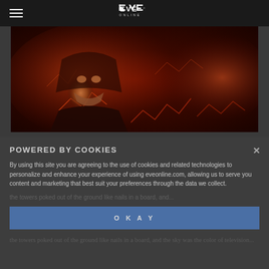EVE Online navigation header with hamburger menu and EVE ONLINE logo
[Figure (illustration): Dark fantasy illustration of an old bearded man in a hood against a red glowing cracked lava-like background]
POWERED BY COOKIES
By using this site you are agreeing to the use of cookies and related technologies to personalize and enhance your experience of using eveonline.com, allowing us to serve you content and marketing that best suit your preferences through the data we collect.
the towers poked out of the ground like nails in a...
OKAY
the towers poked out of the ground like nails in a...